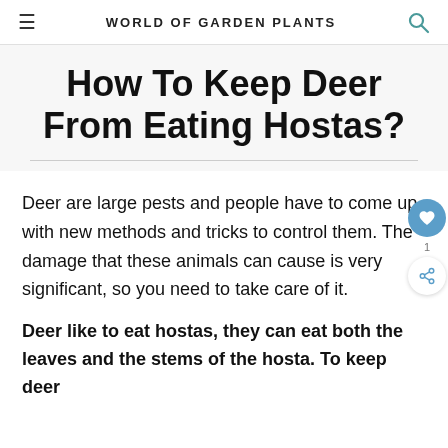WORLD OF GARDEN PLANTS
How To Keep Deer From Eating Hostas?
Deer are large pests and people have to come up with new methods and tricks to control them. The damage that these animals can cause is very significant, so you need to take care of it.
Deer like to eat hostas, they can eat both the leaves and the stems of the hosta. To keep deer